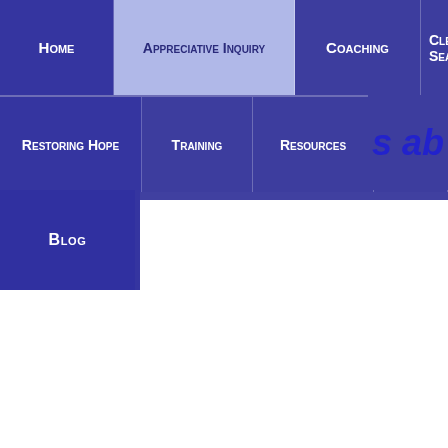Home | Appreciative Inquiry | Coaching | Clergy Search | Restoring Hope | Training | Resources | Book Store | Blog
s abu
The Easter life follow Repentance has thre because we have fai
Recognize: That you Without awarenes
Regret: Being consc If we don't truly re
Reorient: Turning fro If we continue to f
The failure to rerien want in their life. It k behavior which in tur will persist. Reorient orient our life aroun individuals and orga